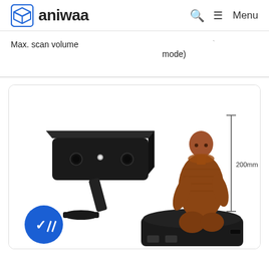aniwaa — Menu
Max. scan volume
mode)
[Figure (photo): A 3D scanner device (black, compact, on an angled stand) placed next to a rotating turntable platform holding a terracotta warrior figurine, with a vertical measurement arrow indicating 200mm height. A blue verification badge with a checkmark appears in the lower-left corner.]